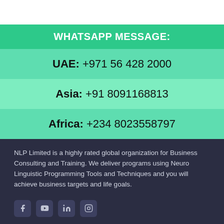WHATSAPP MESSAGE:
UAE: +971 56 428 2000
Asia: +91 8091168813
Africa: +234 8023558797
NLP Limited is a highly rated global organization for Business Consulting and Training. We deliver programs using Neuro Linguistic Programming Tools and Techniques and you will achieve business targets and life goals.
[Figure (infographic): Social media icons: Facebook, YouTube, LinkedIn, Instagram]